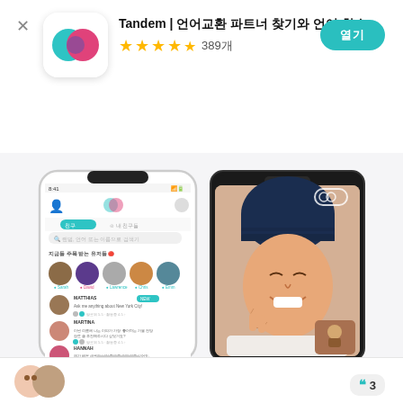[Figure (screenshot): Tandem app icon - teal and pink overlapping circles on white rounded square background]
Tandem | 언어교환 파트너 찾기와 언어 학습
★★★★½ 389개
열기
[Figure (screenshot): iPhone screenshot of Tandem app showing user list with profile photos and messages in Korean]
[Figure (screenshot): Android screenshot of Tandem app showing video call feature with woman in blue beanie hat]
[Figure (screenshot): Bottom partial view of user review section with avatar and number 3]